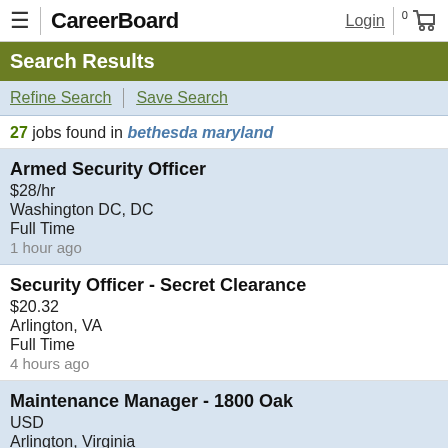CareerBoard  Login  0
Search Results
Refine Search | Save Search
27 jobs found in bethesda maryland
Armed Security Officer
$28/hr
Washington DC, DC
Full Time
1 hour ago
Security Officer - Secret Clearance
$20.32
Arlington, VA
Full Time
4 hours ago
Maintenance Manager - 1800 Oak
USD
Arlington, Virginia
Full Time
9 hours ago
Security Officer Fl...